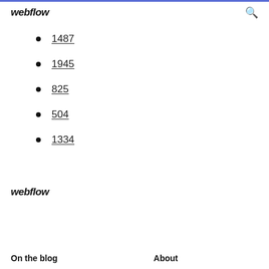webflow
1487
1945
825
504
1334
webflow
On the blog   About